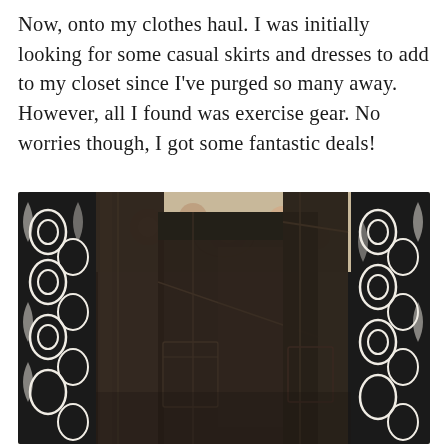Now, onto my clothes haul. I was initially looking for some casual skirts and dresses to add to my closet since I've purged so many away. However, all I found was exercise gear. No worries though, I got some fantastic deals!
[Figure (photo): Photo of dark brown/black athletic leggings laid flat on a decorative patterned rug/blanket with black and white ornate design and floral motifs. Multiple pairs of leggings are stacked, showing side pockets and seam details.]